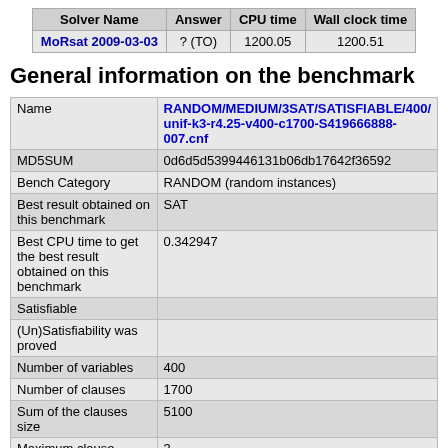| Solver Name | Answer | CPU time | Wall clock time |
| --- | --- | --- | --- |
| MoRsat 2009-03-03 | ? (TO) | 1200.05 | 1200.51 |
General information on the benchmark
|  |  |
| --- | --- |
| Name | RANDOM/MEDIUM/3SAT/SATISFIABLE/400/unif-k3-r4.25-v400-c1700-S419666888-007.cnf |
| MD5SUM | 0d6d5d5399446131b06db17642f36592 |
| Bench Category | RANDOM (random instances) |
| Best result obtained on this benchmark | SAT |
| Best CPU time to get the best result obtained on this benchmark | 0.342947 |
| Satisfiable |  |
| (Un)Satisfiability was proved |  |
| Number of variables | 400 |
| Number of clauses | 1700 |
| Sum of the clauses size | 5100 |
| Maximum clause length | 3 |
| Minimum clause length | 3 |
| Number of clauses of size 1 | 0 |